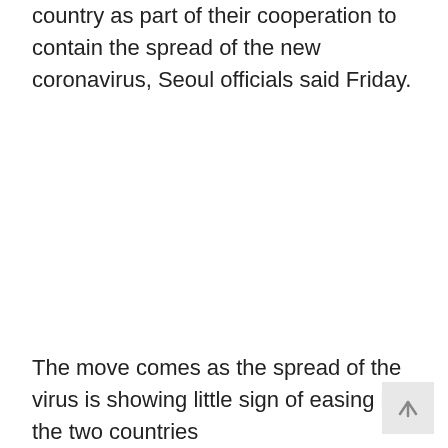country as part of their cooperation to contain the spread of the new coronavirus, Seoul officials said Friday.
The move comes as the spread of the virus is showing little sign of easing in the two countries